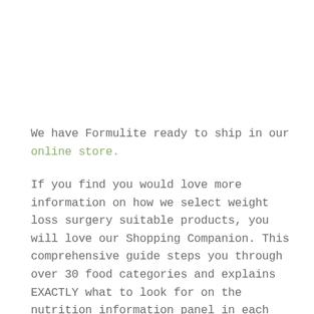We have Formulite ready to ship in our online store.
If you find you would love more information on how we select weight loss surgery suitable products, you will love our Shopping Companion. This comprehensive guide steps you through over 30 food categories and explains EXACTLY what to look for on the nutrition information panel in each